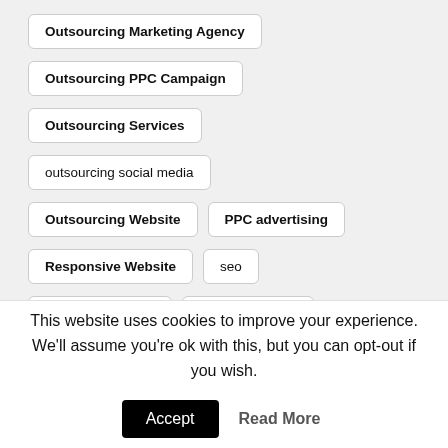Outsourcing Marketing Agency
Outsourcing PPC Campaign
Outsourcing Services
outsourcing social media
Outsourcing Website
PPC advertising
Responsive Website
seo
SEO outsourcing
Site Navigation
Site Responsiv…
This website uses cookies to improve your experience. We'll assume you're ok with this, but you can opt-out if you wish.
Accept  Read More